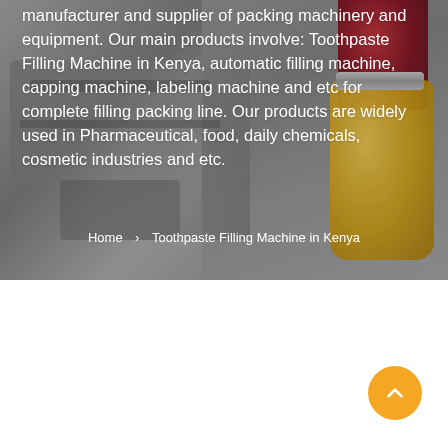[Figure (photo): Hero banner image showing an industrial filling/packing machine on the left side and glass jars (one dark red/maroon, one golden yellow honey jar) on the right side, with a gray background overlay. White text overlaid on the image describes company products.]
manufacturer and supplier of packing machinery and equipment. Our main products involve: Toothpaste Filling Machine in Kenya, automatic filling machine, capping machine, labeling machine and etc for complete filling packing line. Our products are widely used in Pharmaceutical, food, daily chemicals, cosmetic industries and etc.
Home  >  Toothpaste Filling Machine in Kenya